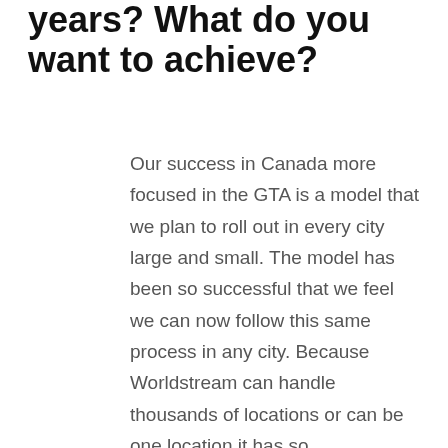years? What do you want to achieve?
Our success in Canada more focused in the GTA is a model that we plan to roll out in every city large and small. The model has been so successful that we feel we can now follow this same process in any city. Because Worldstream can handle thousands of locations or can be one location it has so